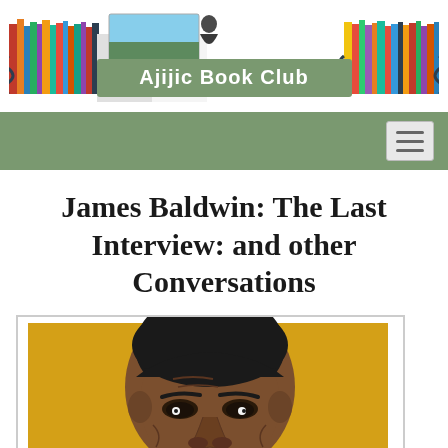[Figure (illustration): Ajijic Book Club website header banner showing colorful books on shelves on left and right, an open book with a scenic photo in the center, and a green banner reading 'Ajijic Book Club']
[Figure (screenshot): Green navigation bar with hamburger menu icon on the right]
James Baldwin: The Last Interview: and other Conversations
[Figure (illustration): Illustrated portrait of James Baldwin on a golden/yellow background, showing his face and upper shoulders in a stylized graphic art style. White border frame around the image.]